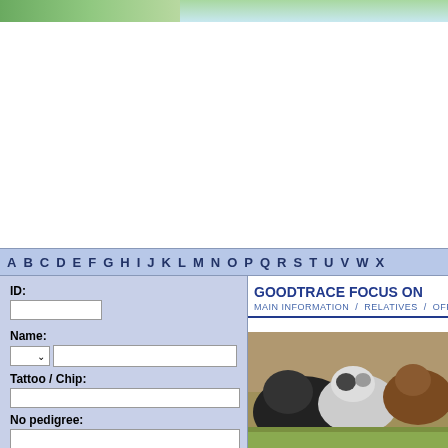[Figure (photo): Green landscape/nature banner at top of page]
A B C D E F G H I J K L M N O P Q R S T U V W X
ID:
Name:
Tattoo / Chip:
No pedigree:
Titles
Kennel (  Owner):
GOODTRACE FOCUS ON
MAIN INFORMATION  /  RELATIVES  /  OFFSP
[Figure (photo): Photo of dogs, appears to show two dogs together outdoors]